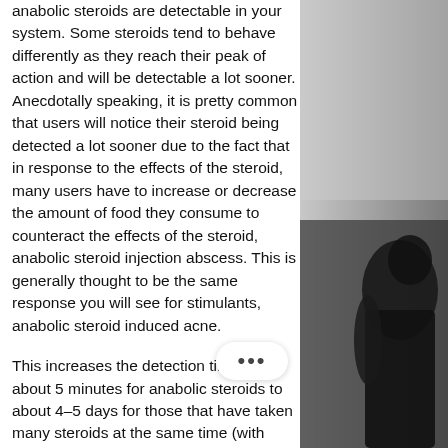anabolic steroids are detectable in your system. Some steroids tend to behave differently as they reach their peak of action and will be detectable a lot sooner. Anecdotally speaking, it is pretty common that users will notice their steroid being detected a lot sooner due to the fact that in response to the effects of the steroid, many users have to increase or decrease the amount of food they consume to counteract the effects of the steroid, anabolic steroid injection abscess. This is generally thought to be the same response you will see for stimulants, anabolic steroid induced acne.

This increases the detection times from about 5 minutes for anabolic steroids to about 4–5 days for those that have taken many steroids at the same time (with many users having taken a single steroid over the course of a year), anabolic steroid induced hypertension. Of course, these times do not
[Figure (photo): Black and white photo of a person, partially visible on the right side of the page.]